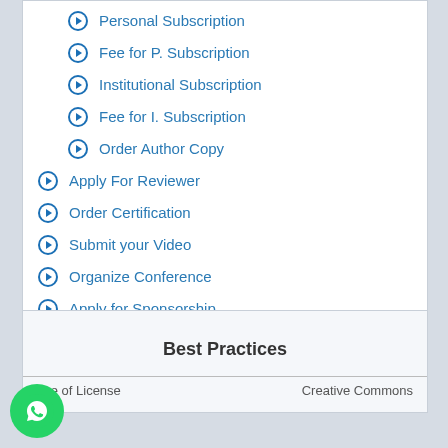Personal Subscription
Fee for P. Subscription
Institutional Subscription
Fee for I. Subscription
Order Author Copy
Apply For Reviewer
Order Certification
Submit your Video
Organize Conference
Apply for Sponsorship
Best Practices
| ype of License | Creative Commons |
| --- | --- |